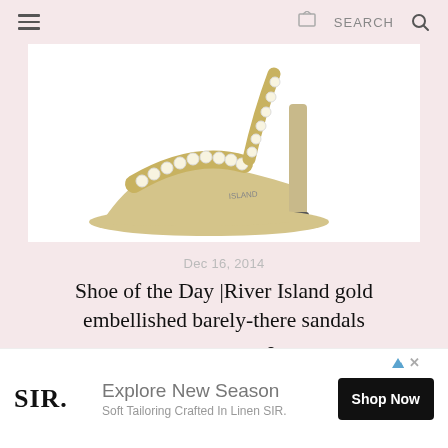≡  [share icon]  SEARCH 🔍
[Figure (photo): Close-up of a gold high-heel sandal with pearl/crystal embellishments along the toe strap and ankle strap, displayed against a white background.]
Dec 16, 2014
Shoe of the Day |River Island gold embellished barely-there sandals
[Figure (infographic): Social sharing icons: Facebook (f), Twitter (bird/check), Pinterest (P)]
SIR.  Explore New Season  Soft Tailoring Crafted In Linen SIR.  Shop Now